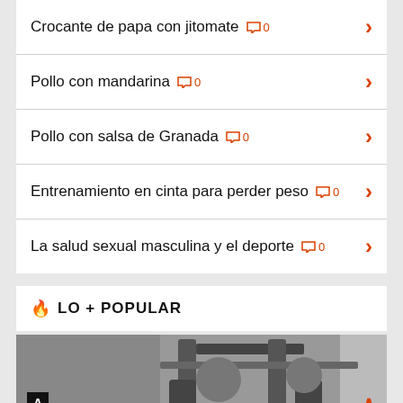Crocante de papa con jitomate 0
Pollo con mandarina 0
Pollo con salsa de Granada 0
Entrenamiento en cinta para perder peso 0
La salud sexual masculina y el deporte 0
LO + POPULAR
[Figure (photo): Black and white photo of gym/fitness equipment with letter A badge overlay]